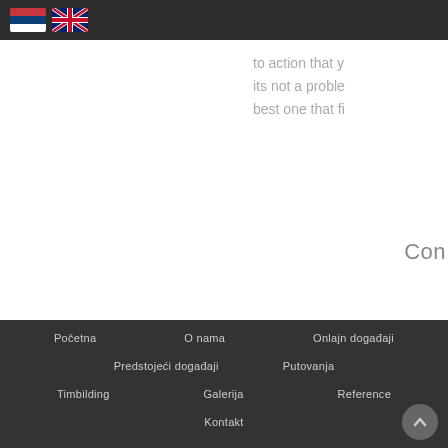[Figure (illustration): Serbian flag emoji and UK flag emoji in top navigation bar]
to action that y its not a proble best one that fi
Con
Početna
O nama
Onlajn događaji
Predstojeći događaji
Putovanja
Timbilding
Galerija
Reference
Kontakt